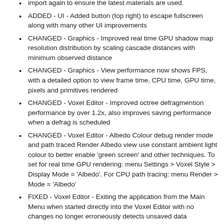import again to ensure the latest materials are used.
ADDED - UI - Added button (top right) to escape fullscreen along with many other UI improvements
CHANGED - Graphics - Improved real time GPU shadow map resolution distribution by scaling cascade distances with minimum observed distance
CHANGED - Graphics - View performance now shows FPS, with a detailed option to view frame time, CPU time, GPU time, pixels and primitives rendered
CHANGED - Voxel Editor - Improved octree defragmention performance by over 1.2x, also improves saving performance when a defrag is scheduled
CHANGED - Voxel Editor - Albedo Colour debug render mode and path traced Render Albedo view use constant ambient light colour to better enable 'green screen' and other techniques. To set for real time GPU rendering: menu Settings > Voxel Style > Display Mode = 'Albedo'. For CPU path tracing: menu Render > Mode = 'Albedo'
FIXED - Voxel Editor - Exiting the application from the Main Menu when started directly into the Voxel Editor with no changes no longer erroneously detects unsaved data
FIXED - Taking jpeg screenshots with certain sizes no longer crashes. Take a screenshot shortcut: F10